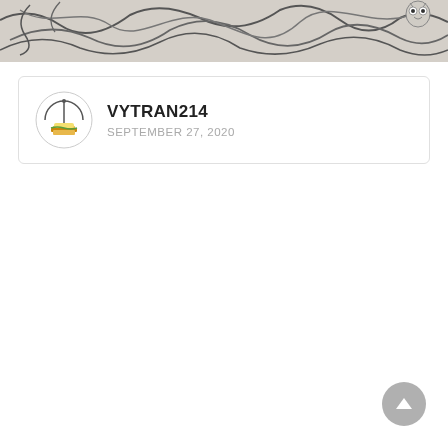[Figure (illustration): Banner image showing abstract line art drawing on a gray/beige background with curvy lines and a small owl-like icon in the upper right corner.]
VYTRAN214
SEPTEMBER 27, 2020